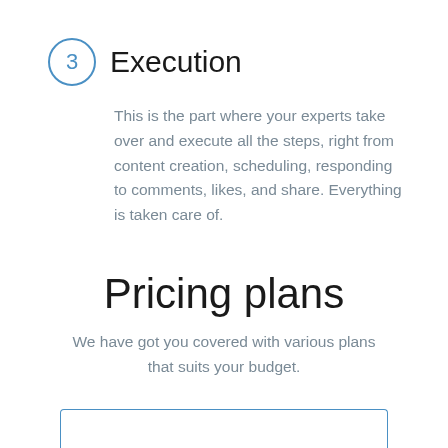3 Execution
This is the part where your experts take over and execute all the steps, right from content creation, scheduling, responding to comments, likes, and share. Everything is taken care of.
Pricing plans
We have got you covered with various plans that suits your budget.